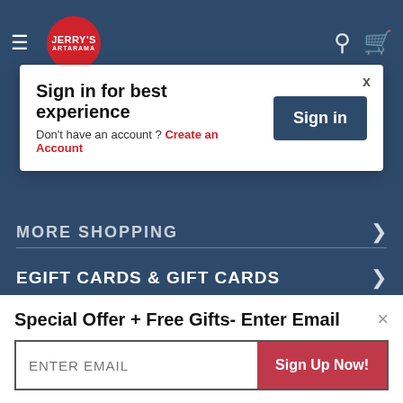[Figure (screenshot): Jerry's Artarama navigation bar with hamburger menu, logo, search and cart icons on dark blue background]
Sign in for best experience
Don't have an account ? Create an Account
Sign in
x
MORE SHOPPING
EGIFT CARDS & GIFT CARDS
JERRY'S
— Empowering Artists Since 1968! —
ARTARAMA®
Proudly Serving Artists For over 50 Years
Special Offer + Free Gifts- Enter Email
ENTER EMAIL
Sign Up Now!